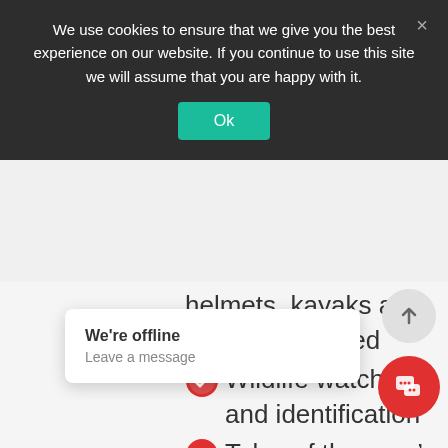We use cookies to ensure that we give you the best experience on our website. If you continue to use this site we will assume that you are happy with it.
Ok
helmets, kayaks and paddles included
Wildlife watching and identification
Tales of the area’s rich history, biodiversity and heritage
10% off further Newquay Activity Centre activities
Discount card for apres kayak food, bars and
15% off at Newquay's Rip
We're offline
Leave a message